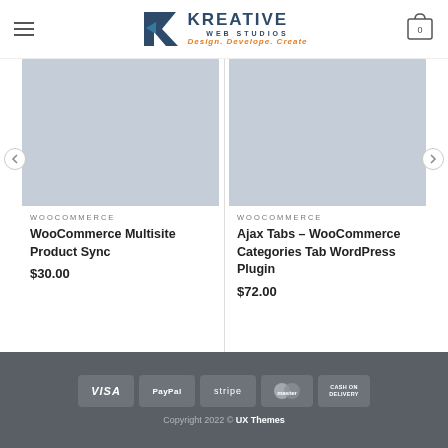[Figure (logo): Kreative Web Studios logo with K icon and tagline Design. Develope. Create.]
[Figure (photo): WooCommerce Multisite Product Sync product image placeholder (light gray)]
WOOCOMMERCE
WooCommerce Multisite Product Sync
$30.00
[Figure (photo): Ajax Tabs – WooCommerce Categories Tab WordPress Plugin product image placeholder (light gray)]
WOOCOMMERCE
Ajax Tabs – WooCommerce Categories Tab WordPress Plugin
$72.00
[Figure (infographic): Payment icons: VISA, PayPal, stripe, MasterCard, Cash on Delivery]
Copyright 2022 © UX Themes